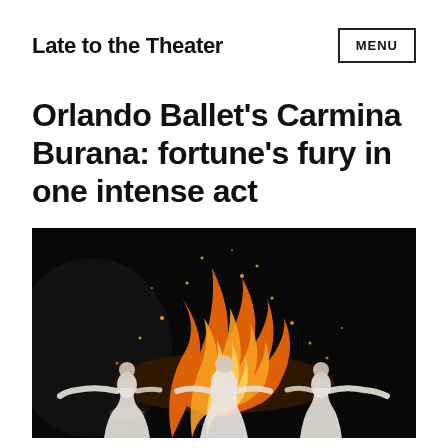Late to the Theater
Orlando Ballet’s Carmina Burana: fortune’s fury in one intense act
[Figure (photo): Three ballet dancers in white costumes posed dramatically against a dark background with large flames and glowing sparks surrounding them, center dancer flanked by two others with arms outstretched.]